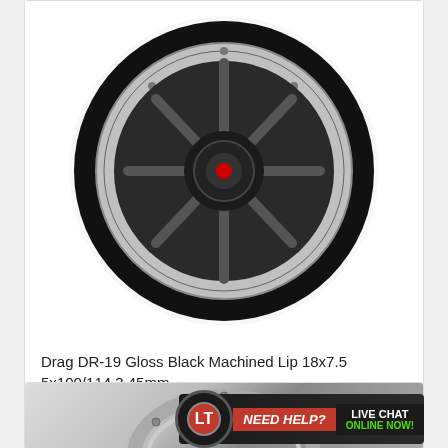[Figure (photo): Dark gloss black machined lip automotive wheel/rim viewed from front angle, showing spoke pattern]
Drag DR-19 Gloss Black Machined Lip 18x7.5 5x100/114.3 45mm
Model #DR191875054573GB
$189.84
In Stock
Buy Now
[Figure (photo): Partial view of a chrome/silver multi-spoke wheel with visible bolts at bottom of page]
NEED HELP? LIVE CHAT ONLINE NOW!